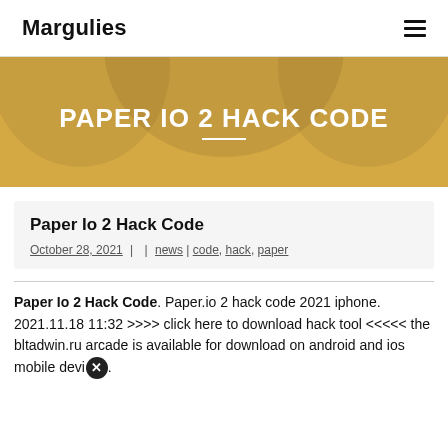Margulies
PAPER IO 2 HACK CODE
Paper Io 2 Hack Code
October 28, 2021  |   news |  code, hack, paper
Paper Io 2 Hack Code. Paper.io 2 hack code 2021 iphone. 2021.11.18 11:32 >>>> click here to download hack tool <<<<< the bltadwin.ru arcade is available for download on android and ios mobile devices.